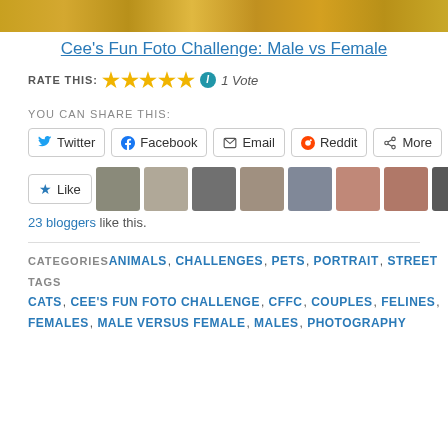[Figure (photo): Top decorative image strip with autumn/warm tones]
Cee’s Fun Foto Challenge: Male vs Female
RATE THIS: ★★★★★ i 1 Vote
YOU CAN SHARE THIS:
Twitter | Facebook | Email | Reddit | More
[Figure (photo): Like button and row of blogger avatar thumbnails]
23 bloggers like this.
CATEGORIES ANIMALS, CHALLENGES, PETS, PORTRAIT, STREET
TAGS CATS, CEE’S FUN FOTO CHALLENGE, CFFC, COUPLES, FELINES, FEMALES, MALE VERSUS FEMALE, MALES, PHOTOGRAPHY